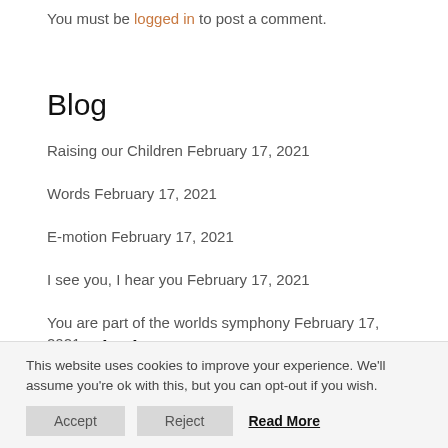You must be logged in to post a comment.
Blog
Raising our Children February 17, 2021
Words February 17, 2021
E-motion February 17, 2021
I see you, I hear you February 17, 2021
You are part of the worlds symphony February 17, 2021
Workshops
This website uses cookies to improve your experience. We'll assume you're ok with this, but you can opt-out if you wish.